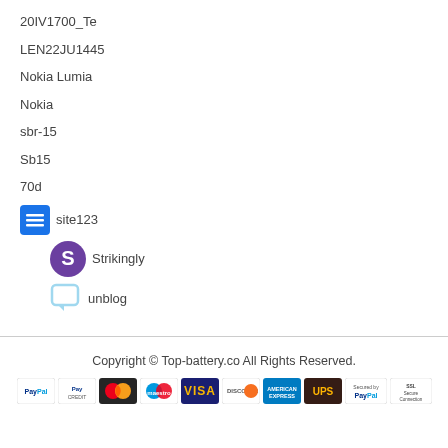20IV1700_Te
LEN22JU1445
Nokia Lumia
Nokia
sbr-15
Sb15
70d
[Figure (logo): site123 logo icon (blue square with white menu lines) followed by text 'site123']
[Figure (logo): Strikingly logo icon (purple circle with white S) followed by text 'Strikingly']
[Figure (logo): unblog logo icon (light blue speech bubble) followed by text 'unblog']
Copyright © Top-battery.co All Rights Reserved.
[Figure (infographic): Payment method icons: PayPal, PayPal Credit, MasterCard, Maestro, Visa, Discover, American Express, UPS, Secured by PayPal, SSL Secure Connection]